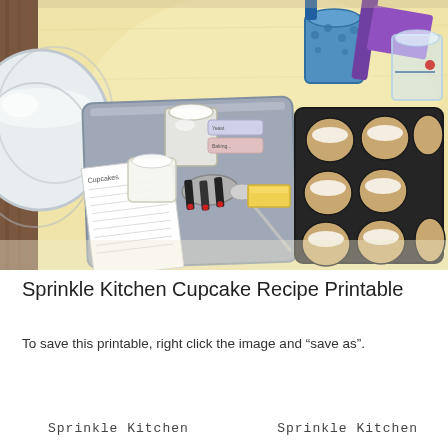[Figure (photo): Overhead photo of a table with baking supplies: a tray containing measuring cups, a jar, butter, a recipe card, and measuring spoons; a muffin tin with paper liners; mixing bowls; and a container of utensils (spatulas, scrapers) on a light yellow table surface with wood floor visible on the left edge.]
Sprinkle Kitchen Cupcake Recipe Printable
To save this printable, right click the image and “save as”.
Sprinkle Kitchen
Sprinkle Kitchen